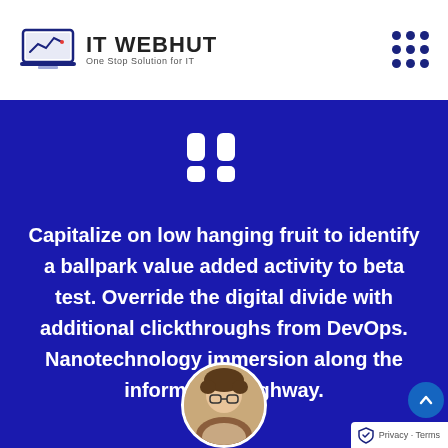IT WEBHUT — One Stop Solution for IT
[Figure (logo): IT WEBHUT logo with laptop icon and tagline 'One Stop Solution for IT']
“”
Capitalize on low hanging fruit to identify a ballpark value added activity to beta test. Override the digital divide with additional clickthroughs from DevOps. Nanotechnology immersion along the information highway.
[Figure (photo): Circular avatar photo of a person with glasses and curly hair]